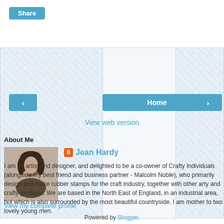[Figure (other): Share button - blue rounded rectangle with white 'Share' text]
[Figure (other): Navigation buttons: left arrow, Home center button, right arrow - all blue]
View web version
About Me
[Figure (photo): Black and white portrait photo of Jean Hardy, a woman resting her chin on her hand]
Jean Hardy
I am an artist and designer, and delighted to be a co-owner of Crafty Individuals (alongside my best friend and business partner - Malcolm Noble), who primarily design and make rubber stamps for the craft industry, together with other arty and crafty products. We are based in the North East of England, in an industrial area, but which is also surrounded by the most beautiful countryside. I am mother to two lovely young men.
View my complete profile
Powered by Blogger.